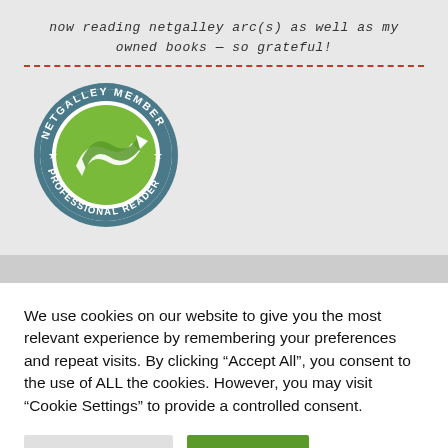now reading netgalley arc(s) as well as my owned books — so grateful!
[Figure (logo): NetGalley Member Professional Reader circular badge with green arrow logo and teal border]
We use cookies on our website to give you the most relevant experience by remembering your preferences and repeat visits. By clicking "Accept All", you consent to the use of ALL the cookies. However, you may visit "Cookie Settings" to provide a controlled consent.
Cookie Settings | Accept All